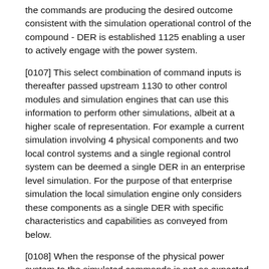the commands are producing the desired outcome consistent with the simulation operational control of the compound - DER is established 1125 enabling a user to actively engage with the power system.
[0107] This select combination of command inputs is thereafter passed upstream 1130 to other control modules and simulation engines that can use this information to perform other simulations, albeit at a higher scale of representation. For example a current simulation involving 4 physical components and two local control systems and a single regional control system can be deemed a single DER in an enterprise level simulation. For the purpose of that enterprise simulation the local simulation engine only considers these components as a single DER with specific characteristics and capabilities as conveyed from below.
[0108] When the response of the physical power system to the simulated commands is not as expected a determination must be made as to whether the controls themselves or the simulated power system is to blame for the inaccuracy. To make such a determination during the deployment phase the control commands are switched